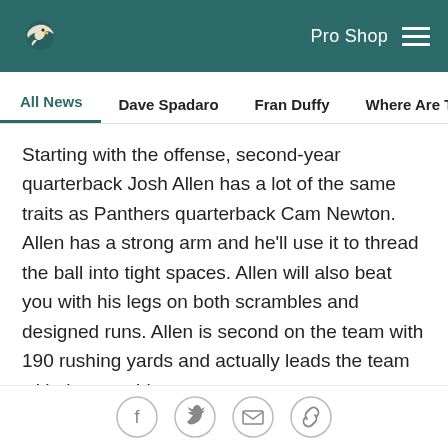Philadelphia Eagles logo | Pro Shop | Menu
All News | Dave Spadaro | Fran Duffy | Where Are They Now? | Pu...
Starting with the offense, second-year quarterback Josh Allen has a lot of the same traits as Panthers quarterback Cam Newton. Allen has a strong arm and he'll use it to thread the ball into tight spaces. Allen will also beat you with his legs on both scrambles and designed runs. Allen is second on the team with 190 rushing yards and actually leads the team with three rushing scores.
An interesting stat from Pro Football Focus regarding Allen, he is the NFL's top passer on short-to-intermediate throws, fewer than 20 yards. But Allen is the lowest-graded quarterback on throws of 20-plus
Social share buttons: Facebook, Twitter, Email, Link